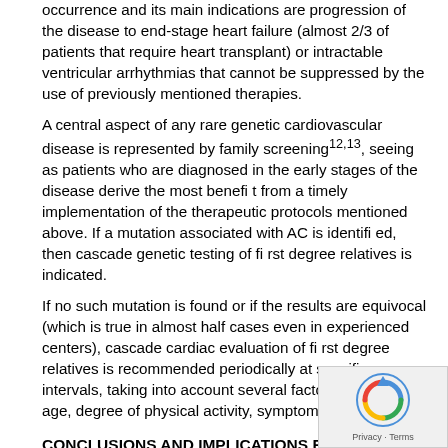occurrence and its main indications are progression of the disease to end-stage heart failure (almost 2/3 of patients that require heart transplant) or intractable ventricular arrhythmias that cannot be suppressed by the use of previously mentioned therapies.
A central aspect of any rare genetic cardiovascular disease is represented by family screening12,13, seeing as patients who are diagnosed in the early stages of the disease derive the most benefit from a timely implementation of the therapeutic protocols mentioned above. If a mutation associated with AC is identified, then cascade genetic testing of first degree relatives is indicated.
If no such mutation is found or if the results are equivocal (which is true in almost half cases even in experienced centers), cascade cardiac evaluation of first degree relatives is recommended periodically at specific intervals, taking into account several factors, such as age, degree of physical activity, symptoms and others.
CONCLUSIONS AND IMPLICATIONS FOR CLINICAL PRACTICE
Arrhythmogenic cardiomyopathy is a challenging disease, both from a diagnostic and therapeutic point of view, as its an ever-evolving body of treatments for it...